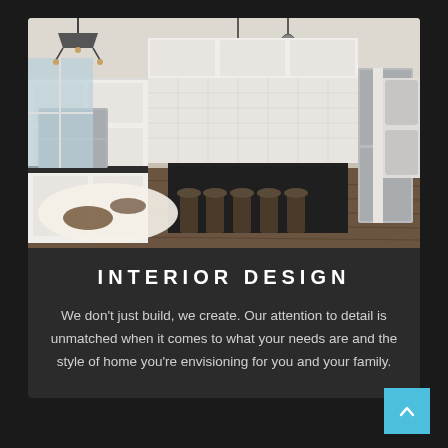[Figure (photo): Interior kitchen photo showing an open-plan kitchen with white cabinets, dark island with bar stools, stainless steel appliances, pendant lights, hardwood floors, and a cowhide rug]
INTERIOR DESIGN
We don't just build, we create. Our attention to detail is unmatched when it comes to what your needs are and the style of home you're envisioning for you and your family.